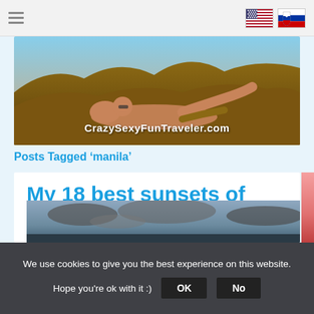CrazySexyFunTraveler.com — navigation header with hamburger menu and flag icons (US, Slovakia)
[Figure (photo): Banner photo of a woman lying on rocky desert terrain with mountains in background, overlaid with text CrazySexyFunTraveler.com]
Posts Tagged ‘manila’
My 18 best sunsets of 2011
[Figure (photo): Partial photo of a dramatic cloudy sky at sunset, cropped at bottom of page]
We use cookies to give you the best experience on this website. Hope you're ok with it :)  OK  No